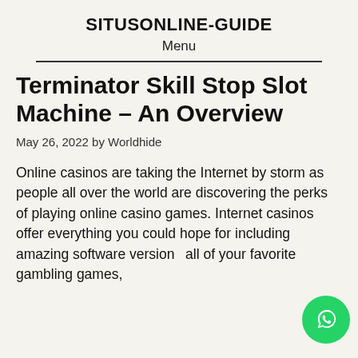SITUSONLINE-GUIDE
Menu
Terminator Skill Stop Slot Machine – An Overview
May 26, 2022 by Worldhide
Online casinos are taking the Internet by storm as people all over the world are discovering the perks of playing online casino games. Internet casinos offer everything you could hope for including amazing software versions all of your favorite gambling games,
[Figure (logo): WhatsApp button icon, green circle with white phone/chat logo]